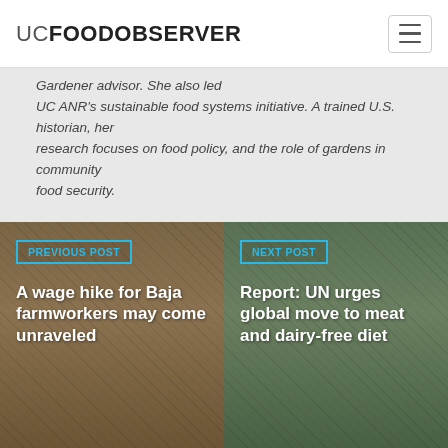UC FOOD OBSERVER
Gardener advisor. She also led UC ANR's sustainable food systems initiative. A trained U.S. historian, her research focuses on food policy, and the role of gardens in community food security.
[Figure (photo): Previous post thumbnail: farmworker in a field]
PREVIOUS POST
A wage hike for Baja farmworkers may come unraveled
[Figure (photo): Next post thumbnail: person with hat]
NEXT POST
Report: UN urges global move to meat and dairy-free diet